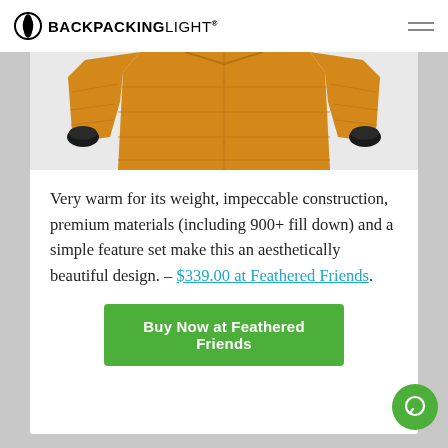BACKPACKINGLIGHT
[Figure (photo): Yellow/orange down jacket displayed flat, showing the body and two sleeves with dark cuffs against a white background]
Very warm for its weight, impeccable construction, premium materials (including 900+ fill down) and a simple feature set make this an aesthetically beautiful design. – $339.00 at Feathered Friends.
Buy Now at Feathered Friends